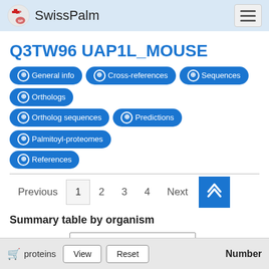SwissPalm
Q3TW96 UAP1L_MOUSE
General info | Cross-references | Sequences | Orthologs | Ortholog sequences | Predictions | Palmitoyl-proteomes | References
Summary table by organism
Search: [input] Show 10 entries
proteins  View  Reset  Number